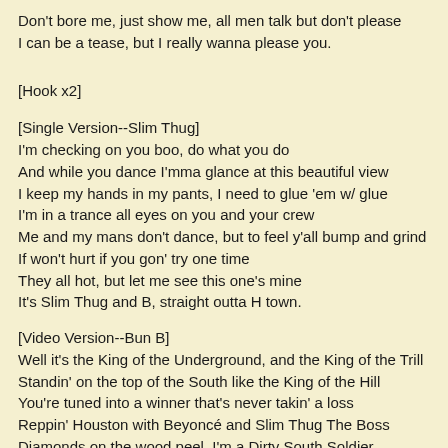Don't bore me, just show me, all men talk but don't please
I can be a tease, but I really wanna please you.
[Hook x2]
[Single Version--Slim Thug]
I'm checking on you boo, do what you do
And while you dance I'mma glance at this beautiful view
I keep my hands in my pants, I need to glue 'em w/ glue
I'm in a trance all eyes on you and your crew
Me and my mans don't dance, but to feel y'all bump and grind
If won't hurt if you gon' try one time
They all hot, but let me see this one's mine
It's Slim Thug and B, straight outta H town.
[Video Version--Bun B]
Well it's the King of the Underground, and the King of the Trill
Standin' on the top of the South like the King of the Hill
You're tuned into a winner that's never takin' a loss
Reppin' Houston with Beyoncé and Slim Thug The Boss
Diamonds on the wood peel, I'm a Dirty South Soldier
Draped up and dripped out homie, I thought I told ya...